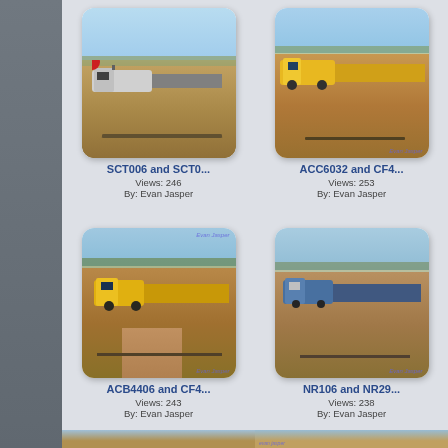[Figure (photo): Australian freight train SCT006 and SCT0... on red desert landscape with blue sky, watermarked photo by Evan Jasper]
SCT006 and SCT0...
Views: 246
By: Evan Jasper
[Figure (photo): Australian freight train ACC6032 and CF4... on red desert landscape, yellow locomotives, watermarked photo by Evan Jasper]
ACC6032 and CF4...
Views: 253
By: Evan Jasper
[Figure (photo): Australian freight train ACB4406 and CF4... on red outback landscape, yellow locomotive, watermarked photo by Evan Jasper]
ACB4406 and CF4...
Views: 243
By: Evan Jasper
[Figure (photo): Australian freight train NR106 and NR29... on desert landscape, blue/grey locomotives, watermarked photo by Evan Jasper]
NR106 and NR29...
Views: 238
By: Evan Jasper
[Figure (photo): Partial view of another train photo at bottom left]
[Figure (photo): Partial view of another train photo at bottom right with Evan Jasper watermark]